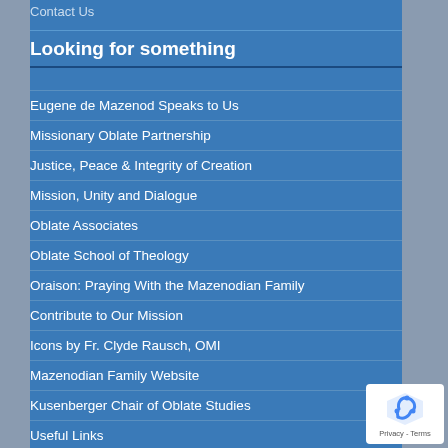Contact Us
Looking for something
Eugene de Mazenod Speaks to Us
Missionary Oblate Partnership
Justice, Peace & Integrity of Creation
Mission, Unity and Dialogue
Oblate Associates
Oblate School of Theology
Oraison: Praying With the Mazenodian Family
Contribute to Our Mission
Icons by Fr. Clyde Rausch, OMI
Mazenodian Family Website
Kusenberger Chair of Oblate Studies
Useful Links
[Figure (logo): reCAPTCHA badge with shield logo and Privacy - Terms text]